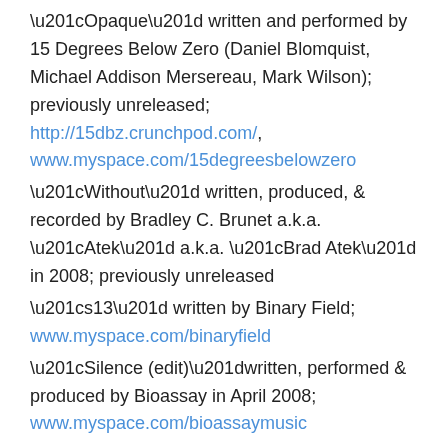“Opaque” written and performed by 15 Degrees Below Zero (Daniel Blomquist, Michael Addison Mersereau, Mark Wilson); previously unreleased; http://15dbz.crunchpod.com/, www.myspace.com/15degreesbelowzero
“Without” written, produced, & recorded by Bradley C. Brunet a.k.a. “Atek” a.k.a. “Brad Atek” in 2008; previously unreleased
“s13” written by Binary Field; www.myspace.com/binaryfield
“Silence (edit)”written, performed & produced by Bioassay in April 2008; www.myspace.com/bioassaymusic
“soot” written, produced & recorded by Aaron Bianchi a.k.a. Bonk in 2008; previously unreleased; myspace.com/bonk1980